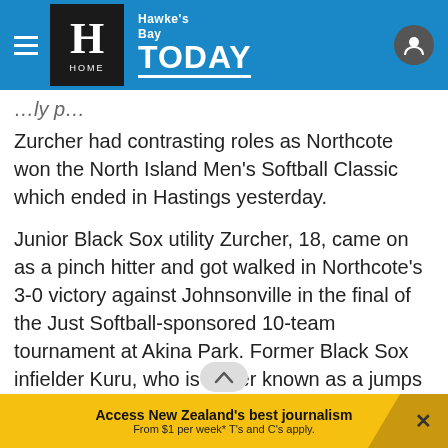Hawke's Bay TODAY
Zurcher had contrasting roles as Northcote won the North Island Men's Softball Classic which ended in Hastings yesterday.
Junior Black Sox utility Zurcher, 18, came on as a pinch hitter and got walked in Northcote's 3-0 victory against Johnsonville in the final of the Just Softball-sponsored 10-team tournament at Akina Park. Former Black Sox infielder Kuru, who is better known as a jumps jockey these days, produced some superb defensive work and hit pitcher Pita Rona home for
Access New Zealand's best journalism From $1 per week* T's and C's apply.